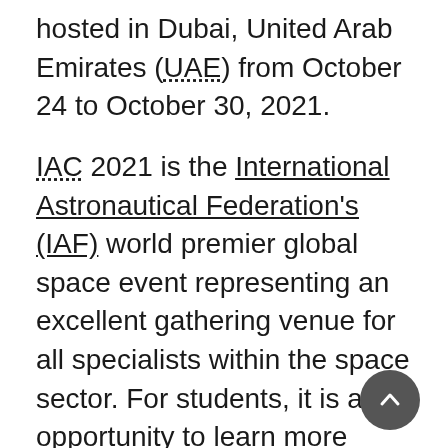hosted in Dubai, United Arab Emirates (UAE) from October 24 to October 30, 2021.
IAC 2021 is the International Astronautical Federation's (IAF) world premier global space event representing an excellent gathering venue for all specialists within the space sector. For students, it is an opportunity to learn more about the future of the space industry, to develop their international networks and to present their research at the highest professional level.
As part of its commitment to support the development of the next generation of